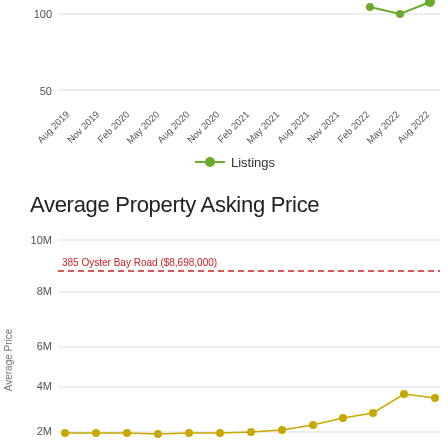[Figure (line-chart): Listings chart (top portion)]
[Figure (line-chart): Average Property Asking Price]